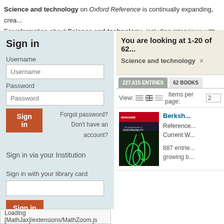Science and technology on Oxford Reference is continually expanding, crea... For information about Science and technology, including interviews with feat...
Sign in
Username
Password
Forgot password?
Don't have an account?
Sign in via your Institution
Sign in with your library card
You are looking at 1-20 of 62...
Science and technology ×
227,615 ENTRIES   62 BOOKS
View:   Items per page: 2...
Berksh...
Reference... Current W...
887 entrie... growing b...
Loading [MathJax]/extensions/MathZoom.js